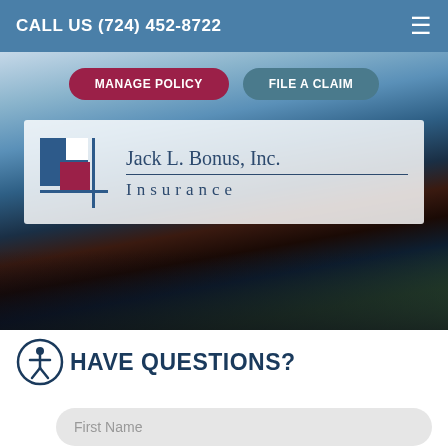CALL US (724) 452-8722
[Figure (screenshot): Website screenshot showing insurance company homepage with hero image of outdoor scene, navigation buttons, and company logo]
MANAGE POLICY
FILE A CLAIM
[Figure (logo): Jack L. Bonus, Inc. Insurance logo with blue and crimson geometric square icon and serif company name text]
HAVE QUESTIONS?
First Name